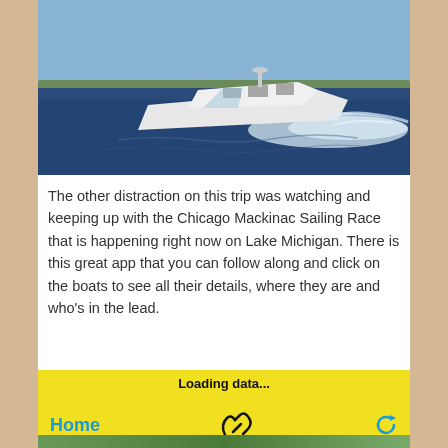[Figure (photo): A white motorboat speeding across blue water with a shoreline in the background under a clear blue sky, creating a white wake behind it.]
The other distraction on this trip was watching and keeping up with the Chicago Mackinac Sailing Race that is happening right now on Lake Michigan. There is this great app that you can follow along and click on the boats to see all their details, where they are and who's in the lead.
[Figure (screenshot): Screenshot of a mobile app showing 'Loading data...' text in bold, a yellow background with 'Home' text in blue on the left, an SB Tracking logo in the center, and a refresh icon in blue on the right. Below is a green map strip.]